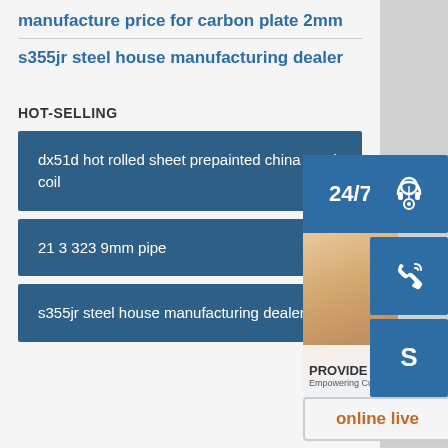manufacture price for carbon plate 2mm
s355jr steel house manufacturing dealer
HOT-SELLING
dx51d hot rolled sheet prepainted china steel coil
21 3 323 9mm pipe
s355jr steel house manufacturing dealer
[Figure (photo): Customer service representative with headset, with 24/7 service badge, headset icon, phone icon, Skype icon, and online live chat button overlay on the right side]